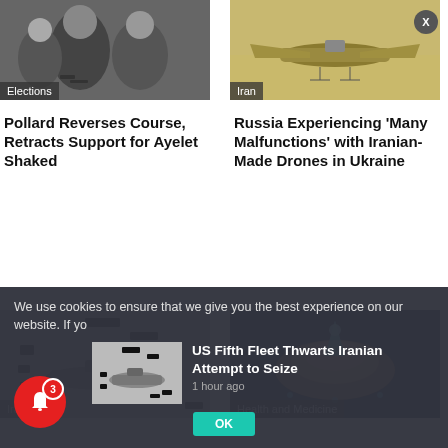[Figure (photo): Photo of people, Elections category tag]
Pollard Reverses Course, Retracts Support for Ayelet Shaked
[Figure (photo): Photo of drone/aircraft, Iran category tag]
Russia Experiencing ‘Many Malfunctions’ with Iranian-Made Drones in Ukraine
[Figure (photo): Aerial/satellite image of ship, Iran category tag]
[Figure (photo): Health and medicine illustration, Health and Medicine category tag]
We use cookies to ensure that we give you the best experience on our website. If yo
[Figure (photo): Thumbnail of ship aerial image]
US Fifth Fleet Thwarts Iranian Attempt to Seize
1 hour ago
OK